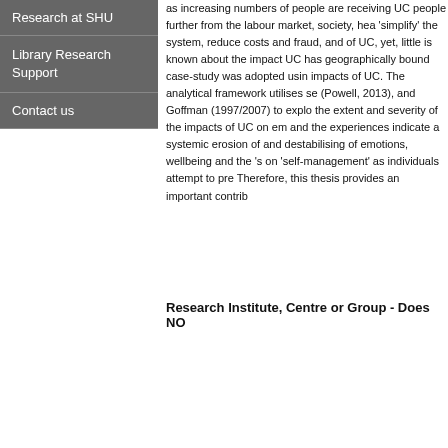Research at SHU
Library Research Support
Contact us
as increasing numbers of people are receiving UC people further from the labour market, society, hea 'simplify' the system, reduce costs and fraud, and of UC, yet, little is known about the impact UC has geographically bound case-study was adopted usin impacts of UC. The analytical framework utilises se (Powell, 2013), and Goffman (1997/2007) to explo the extent and severity of the impacts of UC on em and the experiences indicate a systemic erosion of and destabilising of emotions, wellbeing and the 's on 'self-management' as individuals attempt to pre Therefore, this thesis provides an important contrib
Research Institute, Centre or Group - Does NO